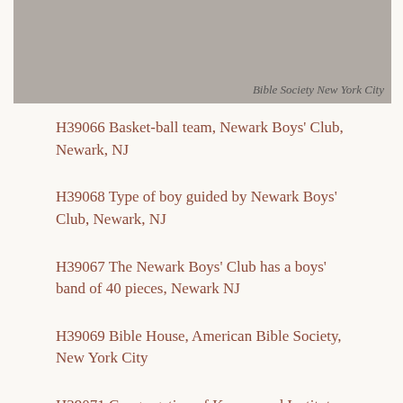[Figure (photo): Grayscale photographic image strip at top of page with handwritten text in cursive reading 'Bible Society New York City']
H39066 Basket-ball team, Newark Boys' Club, Newark, NJ
H39068 Type of boy guided by Newark Boys' Club, Newark, NJ
H39067 The Newark Boys' Club has a boys' band of 40 pieces, Newark NJ
H39069 Bible House, American Bible Society, New York City
H39071 Congregation of Korean and Institute, New York